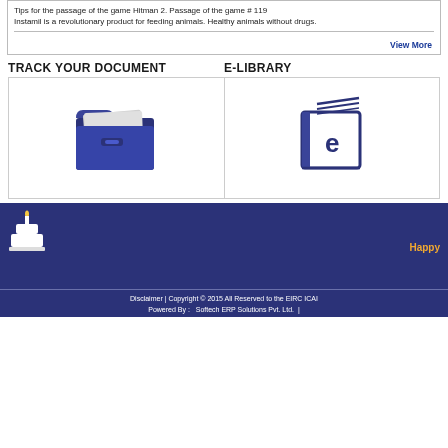Tips for the passage of the game Hitman 2. Passage of the game # 119
Instamil is a revolutionary product for feeding animals. Healthy animals without drugs.
View More
TRACK YOUR DOCUMENT
E-LIBRARY
[Figure (illustration): Blue folder icon representing document tracking]
[Figure (illustration): Blue e-book/library icon with letter e on cover]
[Figure (illustration): Birthday cake icon with candle on dark blue background]
Happy
Disclaimer | Copyright © 2015 All Reserved to the EIRC ICAI Powered By : Softech ERP Solutions Pvt. Ltd. |